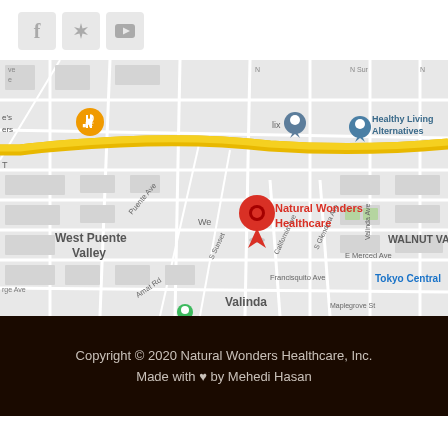[Figure (other): Three social media icon buttons: Facebook (f), Yelp (star burst), YouTube (play button), displayed as grey square icons]
[Figure (map): Google Maps screenshot showing Natural Wonders Healthcare location in West Puente Valley area, with a red location pin labeled 'Natural Wonders Healthcare', and nearby landmarks including 'Healthy Living Alternatives', 'Valinda', 'WALNUT VA', 'Tokyo Central', 'West Puente Valley', streets including Puente Ave, S Sunset, California Ave, S Glendora Ave, E Merced Ave, Francisquito Ave, Maplegrove St, Amat Rd.]
Copyright © 2020 Natural Wonders Healthcare, Inc.
Made with ♥ by Mehedi Hasan